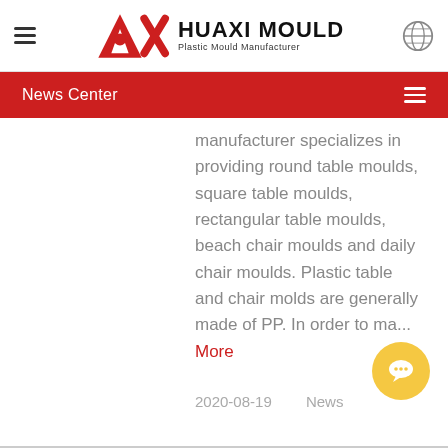[Figure (logo): Huaxi Mould logo with red AX graphic and text 'HUAXI MOULD / Plastic Mould Manufacturer']
News Center
manufacturer specializes in providing round table moulds, square table moulds, rectangular table moulds, beach chair moulds and daily chair moulds. Plastic table and chair molds are generally made of PP. In order to ma... More
2020-08-19    News